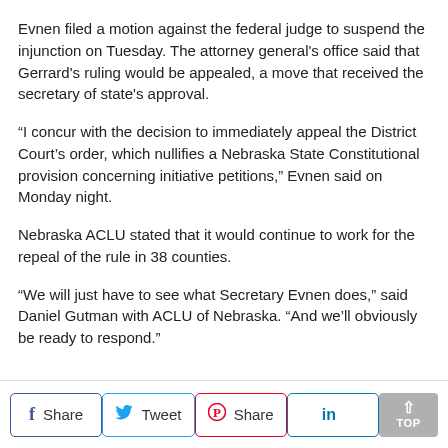Evnen filed a motion against the federal judge to suspend the injunction on Tuesday. The attorney general's office said that Gerrard's ruling would be appealed, a move that received the secretary of state's approval.
“I concur with the decision to immediately appeal the District Court’s order, which nullifies a Nebraska State Constitutional provision concerning initiative petitions,” Evnen said on Monday night.
Nebraska ACLU stated that it would continue to work for the repeal of the rule in 38 counties.
“We will just have to see what Secretary Evnen does,” said Daniel Gutman with ACLU of Nebraska. “And we’ll obviously be ready to respond.”